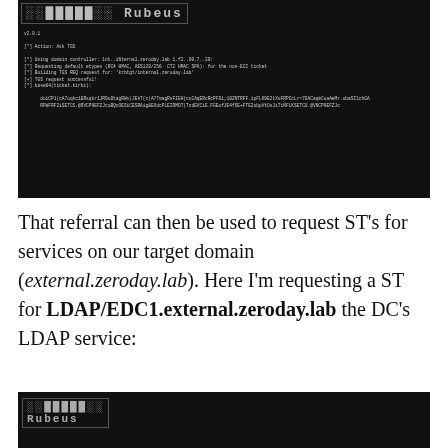[Figure (screenshot): A terminal screenshot showing Rubeus tool output v2.0.1, performing an 'Ask TGS' action. Shows domain controller usage, TGS request details, ticket data, and properties such as ServiceName, ServiceRealm, UserName, UserRealm, StartTime, EndTime, RenewTill, Flags (name_canonicalize, pre_authent, renewable, forwardable), KeyType, and Base64(key).]
That referral can then be used to request ST's for services on our target domain (external.zeroday.lab). Here I'm requesting a ST for LDAP/EDC1.external.zeroday.lab the DC's LDAP service:
[Figure (screenshot): Bottom portion of another Rubeus terminal screenshot with the Rubeus logo visible at the top.]